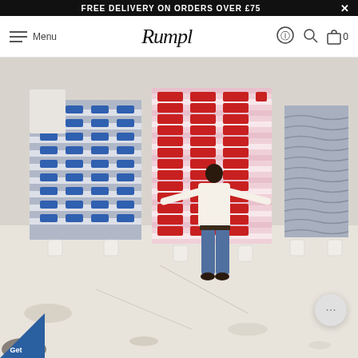FREE DELIVERY ON ORDERS OVER £75  ×
Menu  Rumpl  [accessibility] [search] [cart] 0
[Figure (photo): A person standing in an art studio facing a large patterned blanket/textile hung on a wall. Three large textile panels are displayed: left panel has a grey/blue and white pattern with blue motifs, center panel has a pink and white stripe pattern with red motifs, right panel has a grey/blue quilted wave texture. The studio floor is white and paint-splattered.]
Get